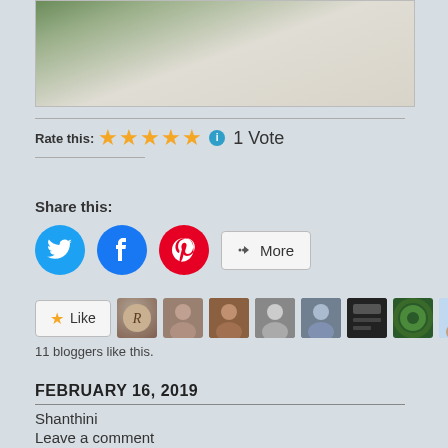[Figure (photo): Top portion of a food/plant photo showing green vegetables against a light background]
Rate this: ★★★★★ ℹ 1 Vote
Share this:
[Figure (infographic): Social share buttons: Twitter (blue circle), Facebook (blue circle), Pinterest (red circle), More button]
[Figure (infographic): Like button and 11 blogger avatars]
11 bloggers like this.
FEBRUARY 16, 2019
Shanthini
Leave a comment